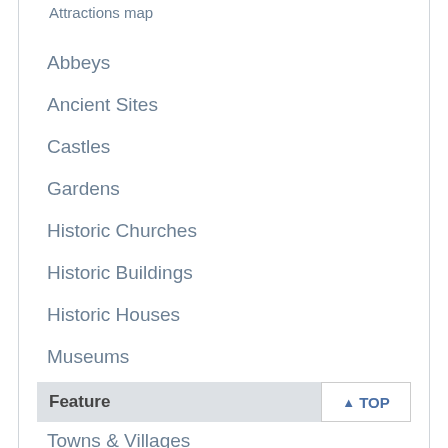Attractions map
Abbeys
Ancient Sites
Castles
Gardens
Historic Churches
Historic Buildings
Historic Houses
Museums
Roman Sites
Towns & Villages
Feature
TOP